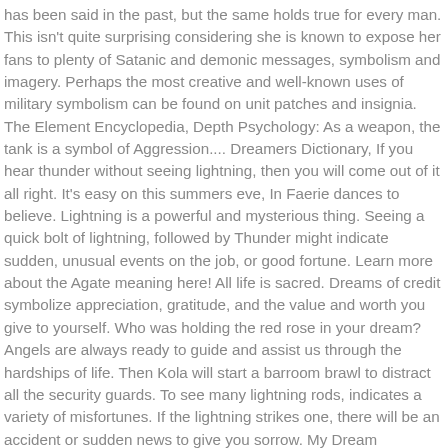has been said in the past, but the same holds true for every man. This isn't quite surprising considering she is known to expose her fans to plenty of Satanic and demonic messages, symbolism and imagery. Perhaps the most creative and well-known uses of military symbolism can be found on unit patches and insignia. The Element Encyclopedia, Depth Psychology: As a weapon, the tank is a symbol of Aggression.... Dreamers Dictionary, If you hear thunder without seeing lightning, then you will come out of it all right. It's easy on this summers eve, In Faerie dances to believe. Lightning is a powerful and mysterious thing. Seeing a quick bolt of lightning, followed by Thunder might indicate sudden, unusual events on the job, or good fortune. Learn more about the Agate meaning here! All life is sacred. Dreams of credit symbolize appreciation, gratitude, and the value and worth you give to yourself. Who was holding the red rose in your dream? Angels are always ready to guide and assist us through the hardships of life. Then Kola will start a barroom brawl to distract all the security guards. To see many lightning rods, indicates a variety of misfortunes. If the lightning strikes one, there will be an accident or sudden news to give you sorrow. My Dream Interpretation, 3. Count Lippe is a former member of The Red Lightning Tong, a Macao-based criminal organization. Fire in a dream also means